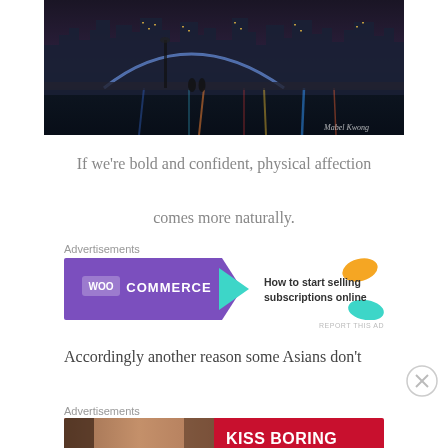[Figure (photo): Nighttime cityscape photo showing a city skyline with illuminated buildings and a bridge reflected in river water below. Watermark reads 'Mabel Kwong'.]
If we're bold and confident, physical affection comes more naturally.
Advertisements
[Figure (other): WooCommerce advertisement banner: purple left panel with WooCommerce logo and teal arrow, white right panel with text 'How to start selling subscriptions online' with orange and teal decorative shapes.]
Accordingly another reason some Asians don't
Advertisements
[Figure (other): Macy's advertisement banner with red background, woman's face with red lips on left, text 'KISS BORING LIPS GOODBYE' with 'SHOP NOW' button and Macy's star logo on right.]